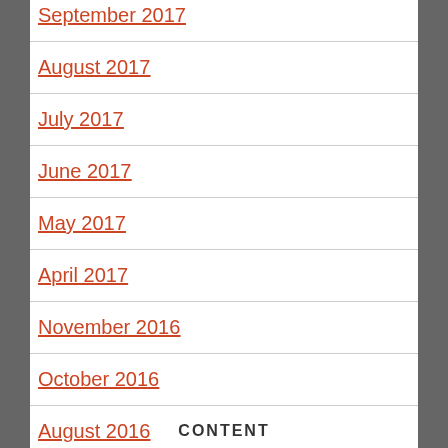September 2017
August 2017
July 2017
June 2017
May 2017
April 2017
November 2016
October 2016
August 2016
CONTENT